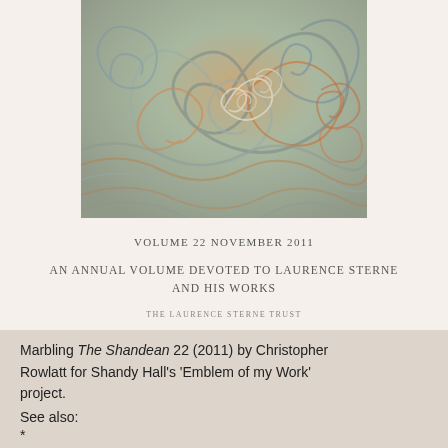[Figure (illustration): Marbled paper image with swirling patterns in grey, blue, orange, and white, forming a spiral design]
VOLUME 22 NOVEMBER 2011
AN ANNUAL VOLUME DEVOTED TO LAURENCE STERNE AND HIS WORKS
THE LAURENCE STERNE TRUST
Marbling The Shandean 22 (2011) by Christopher Rowlatt for Shandy Hall's 'Emblem of my Work' project.
See also:
* See also: